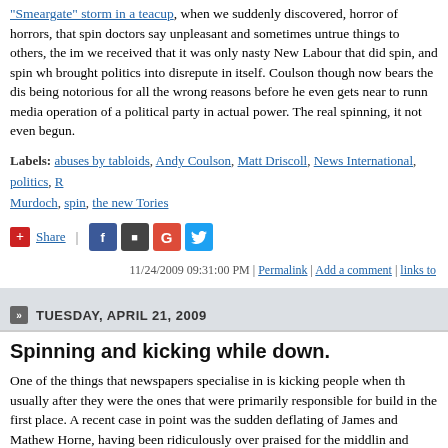"Smeargate" storm in a teacup, when we suddenly discovered, horror of horrors, that spin doctors say unpleasant and sometimes untrue things to others, the impression we received that it was only nasty New Labour that did spin, and spin which brought politics into disrepute in itself. Coulson though now bears the distinction of being notorious for all the wrong reasons before he even gets near to running the media operation of a political party in actual power. The real spinning, it seems, has not even begun.
Labels: abuses by tabloids, Andy Coulson, Matt Driscoll, News International, politics, R Murdoch, spin, the new Tories
[Figure (infographic): Share buttons row: red plus/Share button, vertical separator, Facebook icon, Pocket icon, Google+ icon, Twitter icon]
11/24/2009 09:31:00 PM | Permalink | Add a comment | links to
TUESDAY, APRIL 21, 2009
Spinning and kicking while down.
One of the things that newspapers specialise in is kicking people when they are down, usually after they were the ones that were primarily responsible for building them up in the first place. A recent case in point was the sudden deflating of James Corden and Mathew Horne, having been ridiculously over praised for the middling Gavin and Stacey, who were little less than assaulted over their film, Lesbian Va Killers, their piss-poor eponymous BBC3 sketch show, and a charity appearance which was deemed to be little better.